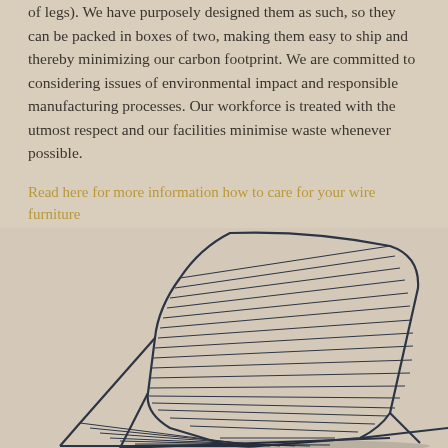of legs). We have purposely designed them as such, so they can be packed in boxes of two, making them easy to ship and thereby minimizing our carbon footprint. We are committed to considering issues of environmental impact and responsible manufacturing processes. Our workforce is treated with the utmost respect and our facilities minimise waste whenever possible.
Read here for more information how to care for your wire furniture
[Figure (photo): A wire lounge chair photographed from above and to the side, showing its dark metal wire frame construction with parallel wires forming the seat and backrest, against a light beige background.]